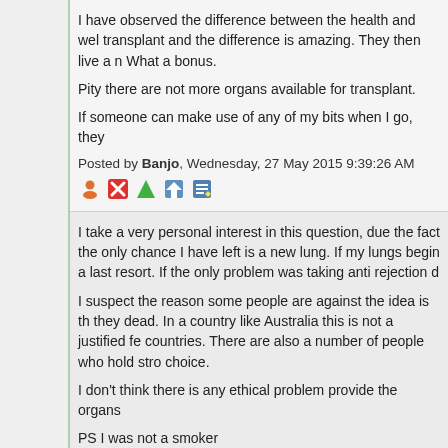I have observed the difference between the health and wel transplant and the difference is amazing. They then live a n What a bonus.
Pity there are not more organs available for transplant.
If someone can make use of any of my bits when I go, they
Posted by Banjo, Wednesday, 27 May 2015 9:39:26 AM
[Figure (infographic): Row of forum action icons: user, delete, upvote, home, edit]
I take a very personal interest in this question, due the fact the only chance I have left is a new lung. If my lungs begin a last resort. If the only problem was taking anti rejection d
I suspect the reason some people are against the idea is th they dead. In a country like Australia this is not a justified fe countries. There are also a number of people who hold stro choice.
I don't think there is any ethical problem provide the organs
PS I was not a smoker
Posted by warmair, Wednesday, 27 May 2015 10:41:18 A
[Figure (infographic): Row of forum action icons: user, delete, upvote, home, edit]
Warmair - Well said Sir. my sympathies.